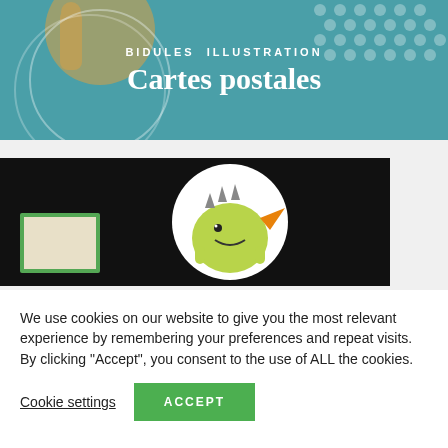BIDULES ILLUSTRATION
Cartes postales
[Figure (photo): Product photo showing illustrated badges/pins with a cartoon green dragon character on a white circular button, displayed on a dark background with a green framed card]
We use cookies on our website to give you the most relevant experience by remembering your preferences and repeat visits. By clicking “Accept”, you consent to the use of ALL the cookies.
Cookie settings
ACCEPT